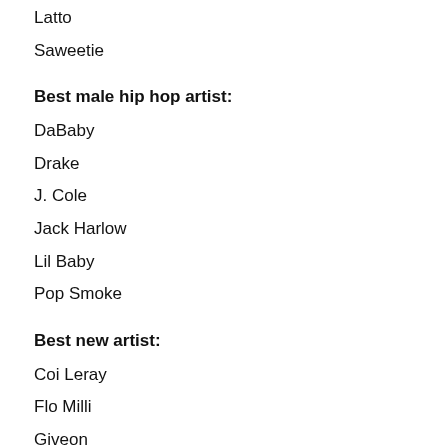Latto
Saweetie
Best male hip hop artist:
DaBaby
Drake
J. Cole
Jack Harlow
Lil Baby
Pop Smoke
Best new artist:
Coi Leray
Flo Milli
Giveon
Jack Harlow
Latto
Pooh Shiesty